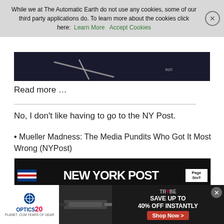While we at The Automatic Earth do not use any cookies, some of our third party applications do. To learn more about the cookies click here: Learn More   Accept Cookies
[Figure (photo): Dark image of crossed swords or similar medieval weapons with 'RZ©' watermark in bottom right]
Read more …
No, I don't like having to go to the NY Post.
Mueller Madness: The Media Pundits Who Got It Most Wrong (NYPost)
[Figure (screenshot): New York Post newspaper front page header showing 'NEW YORK POST' masthead with Page Six branding, METRO EDITION, Tuesday March 26, 2019]
[Figure (screenshot): Advertisement banner: Optics Planet 20 years, gun image, Trybe gear - Save up to 40% off instantly, Shop Now button]